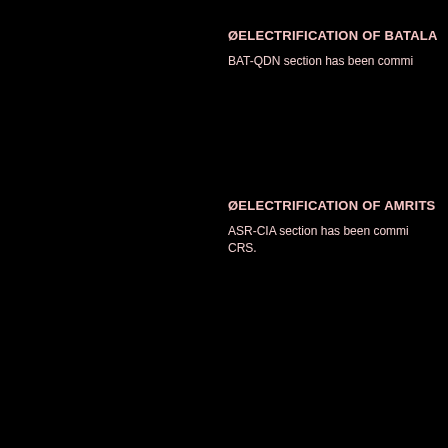ØELECTRIFICATION OF BATALA
BAT-QDN section has been commi
ØELECTRIFICATION OF AMRITS
ASR-CIA section has been commi CRS.